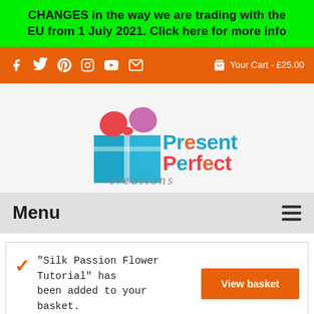CHANGES in the way we are trading with the EU from 1 July 2021. Click here for more info
[Figure (screenshot): Orange navigation bar with social media icons (Facebook, Twitter, Pinterest, Instagram, YouTube, Email) and cart showing Your Cart - £25.00]
[Figure (logo): Present Perfect Creations logo with blue gift box and pink/red bow, colorful text reading 'Present Perfect creations']
Menu
"Silk Passion Flower Tutorial" has been added to your basket.